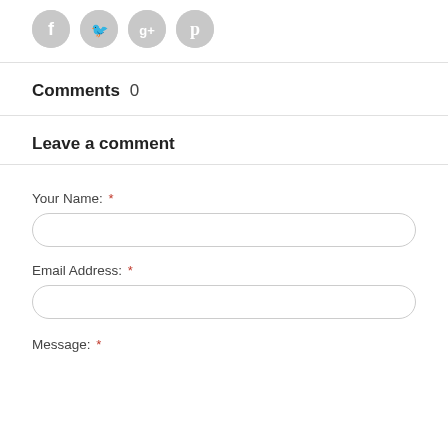[Figure (illustration): Four circular gray social media icons: Facebook (f), Twitter (bird), Google+ (g+), Pinterest (p)]
Comments 0
Leave a comment
Your Name: *
Email Address: *
Message: *